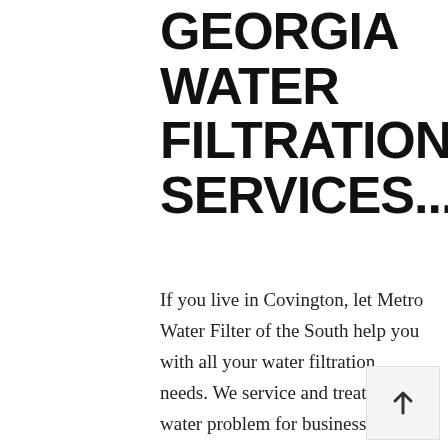GEORGIA WATER FILTRATION SERVICES...
If you live in Covington, let Metro Water Filter of the South help you with all your water filtration needs. We service and treat any water problem for businesses, municipalities, and residences, whether you have city water or water from a well. Contact us today so we can treat your water right. For a copy of the City of Atlanta – Department of Watershed Management 2014 City of Atlanta Water Quality Report – click here. For a copy of the Chattahoochee River Water